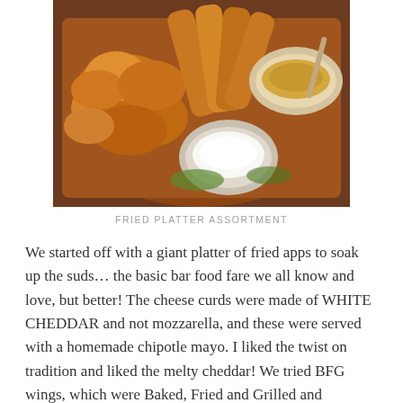[Figure (photo): A fried platter assortment with chicken wings, cheese curds, fried items, and two dipping sauces (ranch and chipotle mayo) on a plate.]
FRIED PLATTER ASSORTMENT
We started off with a giant platter of fried apps to soak up the suds… the basic bar food fare we all know and love, but better!  The cheese curds were made of WHITE CHEDDAR and not mozzarella, and these were served with a homemade chipotle mayo.  I liked the twist on tradition and liked the melty cheddar! We tried BFG wings, which were Baked, Fried and Grilled and accompanied by not just bottled blue cheese, but Roquefort cheese sauce.  The wings had a great texture on the outside due to the triple cooking (take THAT, double